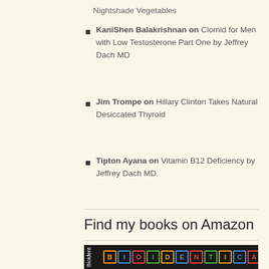Nightshade Vegetables
KaniShen Balakrishnan on Clomid for Men with Low Testosterone Part One by Jeffrey Dach MD
Jim Trompe on Hillary Clinton Takes Natural Desiccated Thyroid
Tipton Ayana on Vitamin B12 Deficiency by Jeffrey Dach MD.
Find my books on Amazon
[Figure (photo): Book cover for Bioidentical Hormones with colorful letter blocks spelling out BIOIDENTICAL HORMONES on a dark background]